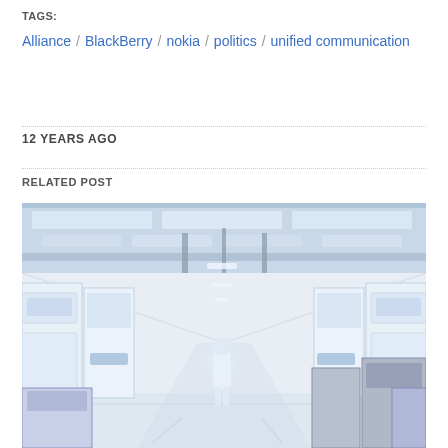TAGS:
Alliance / BlackBerry / nokia / politics / unified communication
12 YEARS AGO
RELATED POST
[Figure (photo): Interior of a high-tech cleanroom / electronics manufacturing facility. A person in a white cleanroom suit walks down a long aisle flanked by white industrial equipment and machines. Overhead are pipes, ducts, and fluorescent lighting. The scene is bright and clinical.]